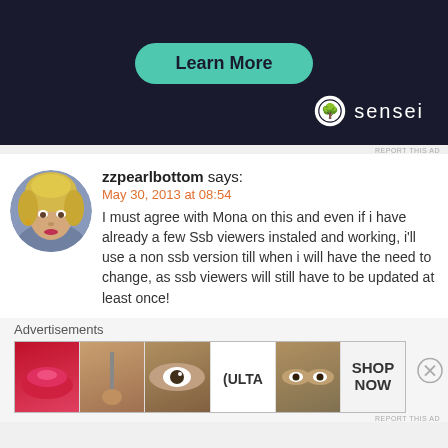[Figure (screenshot): Dark navy advertisement banner with a teal 'Learn More' rounded button at top and 'sensei' logo with tree icon at bottom right]
REPORT THIS AD
zzpearlbottom says:
May 30, 2013 at 08:54
I must agree with Mona on this and even if i have already a few Ssb viewers instaled and working, i'll use a non ssb version till when i will have the need to change, as ssb viewers will still have to be updated at least once!
Advertisements
[Figure (screenshot): ULTA beauty advertisement strip showing makeup imagery (lips, brush, eye, ULTA logo, eyes, SHOP NOW text)]
REPORT THIS AD